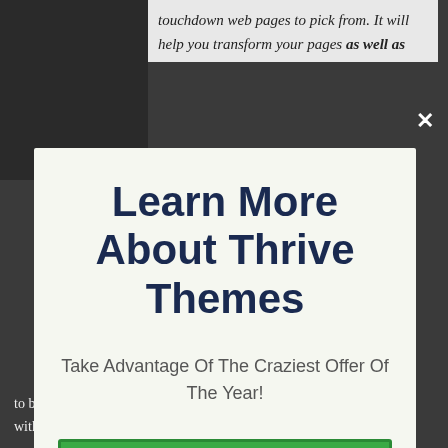touchdown web pages to pick from. It will help you transform your pages as well as
Learn More About Thrive Themes
Take Advantage Of The Craziest Offer Of The Year!
CHECK OUT THE OFFICIAL THRIVE SITE HERE
No thanks, I'm not interested!
to be able to produce looking internet sites without needing to manage CSS or PHP code.